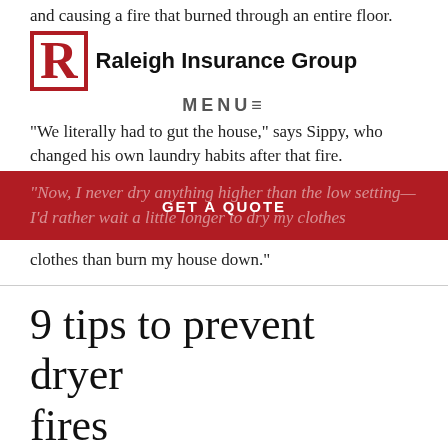and causing a fire that burned through an entire floor.
[Figure (logo): Raleigh Insurance Group logo with red R in a box and bold text]
“We literally had to gut the house,” says Sippy, who changed his own laundry habits after that fire.
“Now, I never dry anything higher than the low setting—I’d rather wait a little longer to dry my clothes than burn my house down.”
9 tips to prevent dryer fires
1. Clean out the lint. “It starts with cleaning out the lint filter every time you use the dryer”